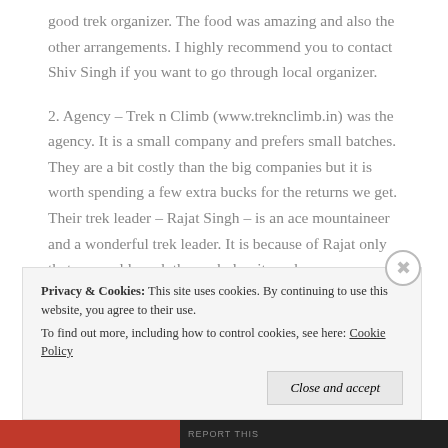good trek organizer. The food was amazing and also the other arrangements. I highly recommend you to contact Shiv Singh if you want to go through local organizer.
2. Agency – Trek n Climb (www.treknclimb.in) was the agency. It is a small company and prefers small batches. They are a bit costly than the big companies but it is worth spending a few extra bucks for the returns we get. Their trek leader – Rajat Singh – is an ace mountaineer and a wonderful trek leader. It is because of Rajat only that we could reach the peak despite so heavy snow.
Privacy & Cookies: This site uses cookies. By continuing to use this website, you agree to their use. To find out more, including how to control cookies, see here: Cookie Policy